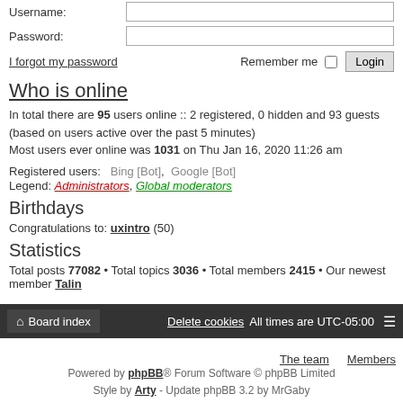Username: [input field]
Password: [input field]
I forgot my password   Remember me [ ] Login
Who is online
In total there are 95 users online :: 2 registered, 0 hidden and 93 guests (based on users active over the past 5 minutes)
Most users ever online was 1031 on Thu Jan 16, 2020 11:26 am
Registered users:   Bing [Bot],   Google [Bot]
Legend: Administrators, Global moderators
Birthdays
Congratulations to: uxintro (50)
Statistics
Total posts 77082 • Total topics 3036 • Total members 2415 • Our newest member Talin
Board index | Delete cookies | All times are UTC-05:00 | The team | Members
Powered by phpBB® Forum Software © phpBB Limited
Style by Arty - Update phpBB 3.2 by MrGaby